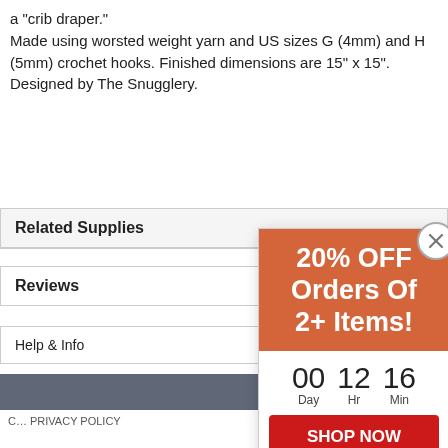a "crib draper." Made using worsted weight yarn and US sizes G (4mm) and H (5mm) crochet hooks. Finished dimensions are 15" x 15". Designed by The Snugglery.
Related Supplies
Reviews
Help & Info
[Figure (screenshot): Promotional popup overlay showing '20% OFF Orders Of 2+ Items!' in white bold text on an orange background, with a countdown timer showing 00 Day, 12 Hr, 16 Min, and a red 'SHOP NOW' button. A close button (X) appears in the top-right corner.]
C... PRIVACY POLICY ... rms